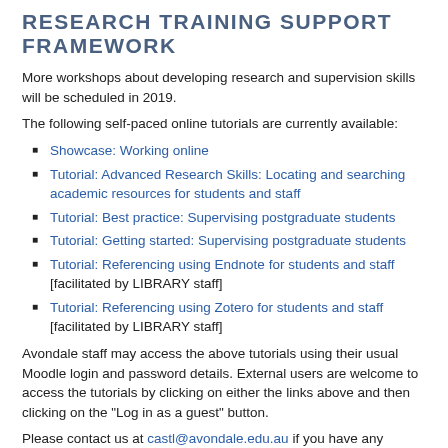RESEARCH TRAINING SUPPORT FRAMEWORK
More workshops about developing research and supervision skills will be scheduled in 2019.
The following self-paced online tutorials are currently available:
Showcase: Working online
Tutorial: Advanced Research Skills: Locating and searching academic resources for students and staff
Tutorial: Best practice: Supervising postgraduate students
Tutorial: Getting started: Supervising postgraduate students
Tutorial: Referencing using Endnote for students and staff [facilitated by LIBRARY staff]
Tutorial: Referencing using Zotero for students and staff [facilitated by LIBRARY staff]
Avondale staff may access the above tutorials using their usual Moodle login and password details. External users are welcome to access the tutorials by clicking on either the links above and then clicking on the "Log in as a guest" button.
Please contact us at castl@avondale.edu.au if you have any